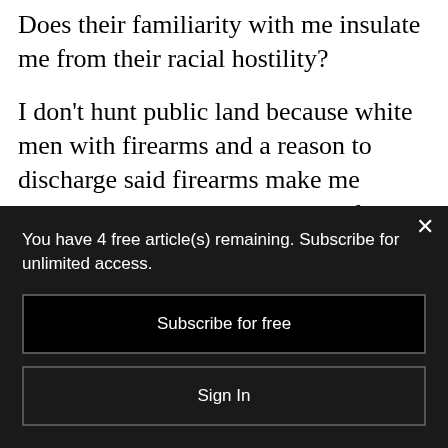Does their familiarity with me insulate me from their racial hostility?
I don't hunt public land because white men with firearms and a reason to discharge said firearms make me incredibly nervous. Just ask the family of Garrick and Carl Hopkins of Cabell County, West Virginia—two Black men killed by their white neighbor for "trespassing"
You have 4 free article(s) remaining. Subscribe for unlimited access.
Subscribe for free
Sign In